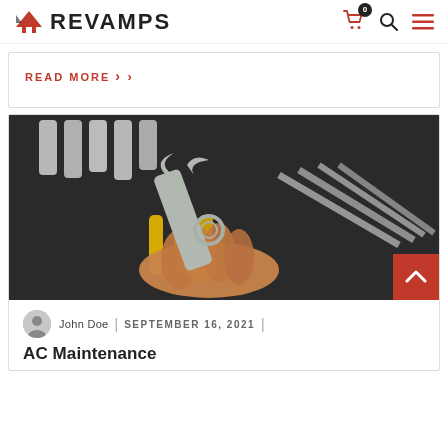REVAMPS
READ MORE >
[Figure (photo): A hand holding a combination wrench with a toolbox of various tools including yellow-handled pliers and socket extensions in the background]
John Doe | SEPTEMBER 16, 2021 |
AC Maintenance